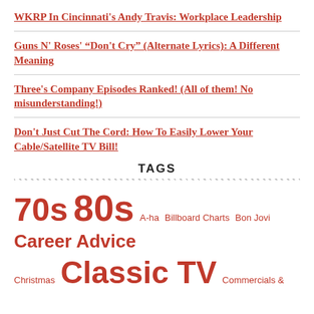WKRP In Cincinnati's Andy Travis: Workplace Leadership
Guns N' Roses' “Don't Cry” (Alternate Lyrics): A Different Meaning
Three's Company Episodes Ranked! (All of them! No misunderstanding!)
Don't Just Cut The Cord: How To Easily Lower Your Cable/Satellite TV Bill!
TAGS
70s 80s A-ha Billboard Charts Bon Jovi Career Advice Christmas Classic TV Commercials &
Tags: 70s, 80s, A-ha, Billboard Charts, Bon Jovi, Career Advice, Christmas, Classic TV, Commercials